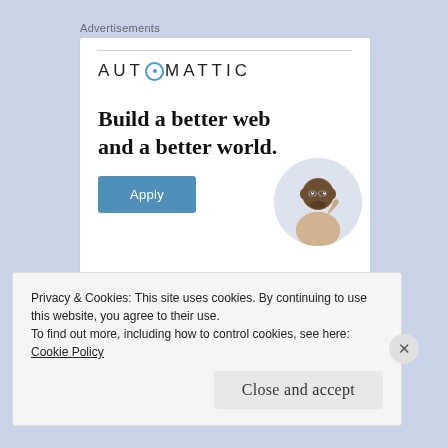Advertisements
[Figure (infographic): Automattic advertisement banner with logo, headline 'Build a better web and a better world.', an Apply button, and a circular photo of a person thinking]
Privacy & Cookies: This site uses cookies. By continuing to use this website, you agree to their use.
To find out more, including how to control cookies, see here: Cookie Policy
Close and accept